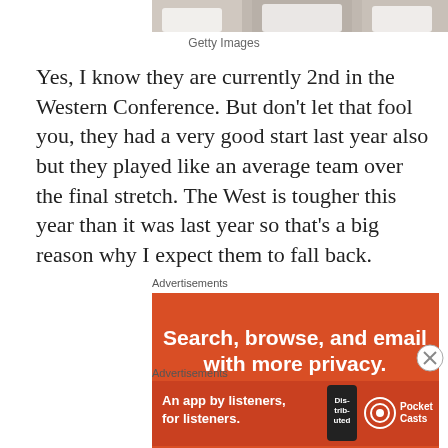[Figure (photo): Cropped bottom portion of a sports photo showing people in white clothing]
Getty Images
Yes, I know they are currently 2nd in the Western Conference. But don't let that fool you, they had a very good start last year also but they played like an average team over the final stretch. The West is tougher this year than it was last year so that's a big reason why I expect them to fall back.
Advertisements
[Figure (screenshot): Red advertisement banner: 'Search, browse, and email with more privacy. All in One Free App']
Advertisements
[Figure (screenshot): Red advertisement banner for Pocket Casts: 'An app by listeners, for listeners.']